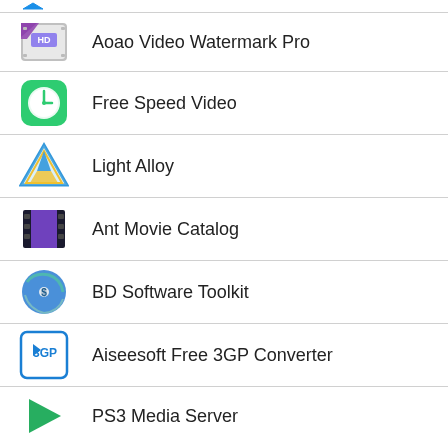Aoao Video Watermark Pro
Free Speed Video
Light Alloy
Ant Movie Catalog
BD Software Toolkit
Aiseesoft Free 3GP Converter
PS3 Media Server